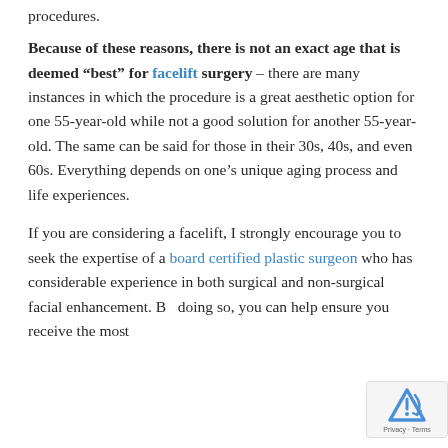procedures.
Because of these reasons, there is not an exact age that is deemed “best” for facelift surgery – there are many instances in which the procedure is a great aesthetic option for one 55-year-old while not a good solution for another 55-year-old. The same can be said for those in their 30s, 40s, and even 60s. Everything depends on one’s unique aging process and life experiences.
If you are considering a facelift, I strongly encourage you to seek the expertise of a board certified plastic surgeon who has considerable experience in both surgical and non-surgical facial enhancement. By doing so, you can help ensure you receive the most